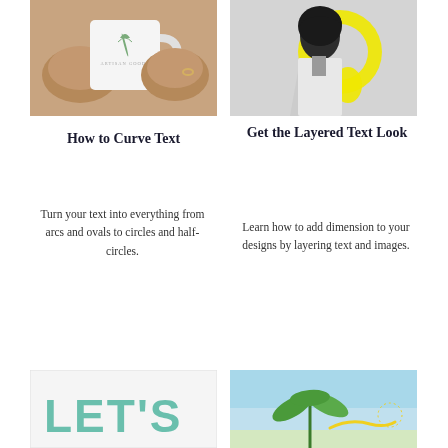[Figure (photo): Hands holding a white mug with a botanical leaf logo design]
[Figure (photo): Black and white photo of a woman's profile with a bold yellow graphic comma/circle overlay]
How to Curve Text
Get the Layered Text Look
Turn your text into everything from arcs and ovals to circles and half-circles.
Learn how to add dimension to your designs by layering text and images.
[Figure (illustration): Graphic design with large teal block letters spelling LET'S on a light background]
[Figure (photo): Beach scene with tropical plant and decorative curved script text]